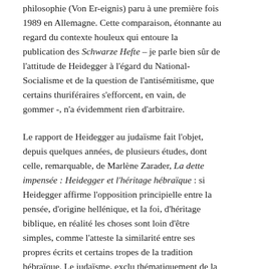Philosophie (Von Er-eignis) paru à une première fois 1989 en Allemagne. Cette comparaison, étonnante au regard du contexte houleux qui entoure la publication des Schwarze Hefte – je parle bien sûr de l'attitude de Heidegger à l'égard du National-Socialisme et de la question de l'antisémitisme, que certains thuriféraires s'efforcent, en vain, de gommer -, n'a évidemment rien d'arbitraire.
Le rapport de Heidegger au judaïsme fait l'objet, depuis quelques années, de plusieurs études, dont celle, remarquable, de Marlène Zarader, La dette impensée : Heidegger et l'héritage hébraïque : si Heidegger affirme l'opposition principielle entre la pensée, d'origine hellénique, et la foi, d'héritage biblique, en réalité les choses sont loin d'être simples, comme l'atteste la similarité entre ses propres écrits et certains tropes de la tradition hébraïque. Le judaïsme, exclu thématiquement de la